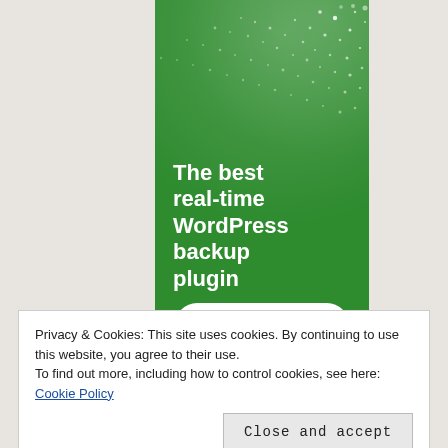[Figure (screenshot): Green banner advertisement for a WordPress backup plugin. Shows white dot pattern at top, large white bold text reading 'The best real-time WordPress backup plugin', and a white rounded button partially visible at bottom reading 'Back up your site'.]
Privacy & Cookies: This site uses cookies. By continuing to use this website, you agree to their use.
To find out more, including how to control cookies, see here: Cookie Policy
Close and accept